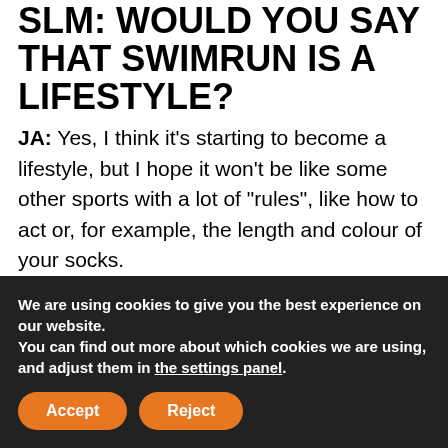SLM: WOULD YOU SAY THAT SWIMRUN IS A LIFESTYLE?
JA: Yes, I think it's starting to become a lifestyle, but I hope it won't be like some other sports with a lot of "rules", like how to act or, for example, the length and colour of your socks.
SLM: ANY RACE CHALLENGES TO MARK THE OCCASION OF YOUR 50TH NEXT YEAR?
We are using cookies to give you the best experience on our website.
You can find out more about which cookies we are using, and adjust them in the settings panel.